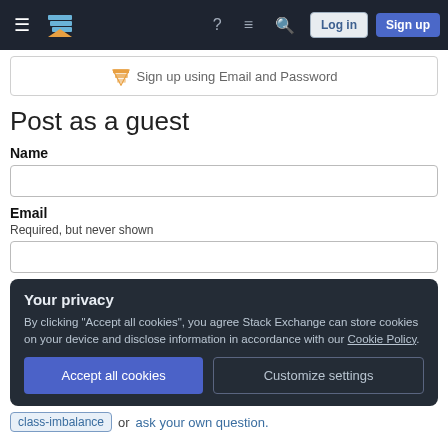Stack Exchange navigation bar with hamburger menu, logo, help, chat, search icons, Log in and Sign up buttons
Sign up using Email and Password
Post as a guest
Name
Email
Required, but never shown
Your privacy
By clicking "Accept all cookies", you agree Stack Exchange can store cookies on your device and disclose information in accordance with our Cookie Policy.
Accept all cookies
Customize settings
class-imbalance or ask your own question.